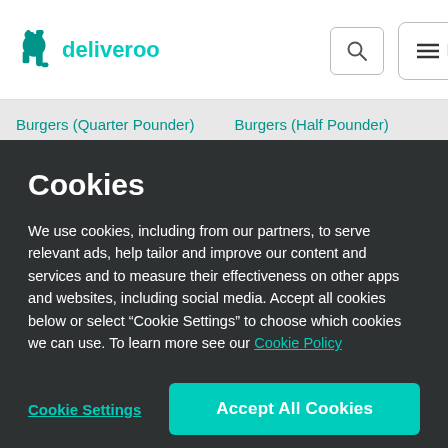[Figure (logo): Deliveroo logo with kangaroo icon and teal wordmark]
Burgers (Quarter Pounder)
Burgers (Half Pounder)
Cookies
We use cookies, including from our partners, to serve relevant ads, help tailor and improve our content and services and to measure their effectiveness on other apps and websites, including social media. Accept all cookies below or select “Cookie Settings” to choose which cookies we can use. To learn more see our Cookie Policy
Cookie Settings
Accept All Cookies